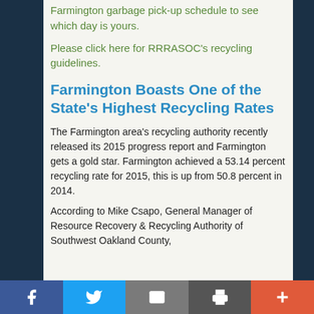Farmington garbage pick-up schedule to see which day is yours.
Please click here for RRRASOC's recycling guidelines.
Farmington Boasts One of the State's Highest Recycling Rates
The Farmington area's recycling authority recently released its 2015 progress report and Farmington gets a gold star. Farmington achieved a 53.14 percent recycling rate for 2015, this is up from 50.8 percent in 2014.
According to Mike Csapo, General Manager of Resource Recovery & Recycling Authority of Southwest Oakland County,
Facebook | Twitter | Email | Print | More